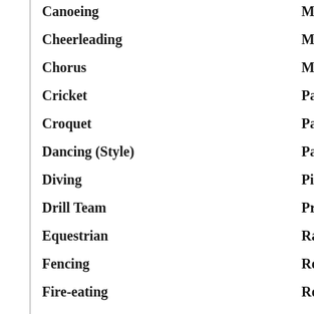Canoeing
Cheerleading
Chorus
Cricket
Croquet
Dancing (Style)
Diving
Drill Team
Equestrian
Fencing
Fire-eating
Fishing
Flags
Motorcy…
Mountai…
Multilin…
Pantomin…
Parachut…
Parasaili…
Ping Pon…
Precision…
Racquetb…
Repelling…
Rock Cli…
Rodeo
Roller Sk…